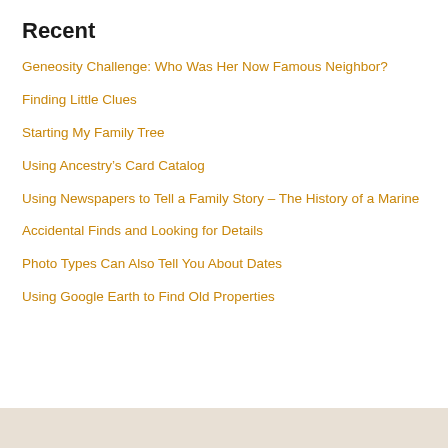Recent
Geneosity Challenge: Who Was Her Now Famous Neighbor?
Finding Little Clues
Starting My Family Tree
Using Ancestry's Card Catalog
Using Newspapers to Tell a Family Story – The History of a Marine
Accidental Finds and Looking for Details
Photo Types Can Also Tell You About Dates
Using Google Earth to Find Old Properties